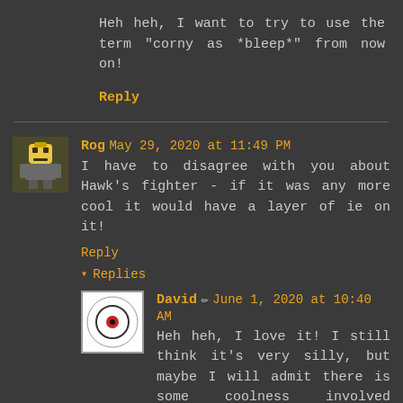Heh heh, I want to try to use the term "corny as *bleep*" from now on!
Reply
Rog May 29, 2020 at 11:49 PM
I have to disagree with you about Hawk's fighter - if it was any more cool it would have a layer of ie on it!
Reply
Replies
David June 1, 2020 at 10:40 AM
Heh heh, I love it! I still think it's very silly, but maybe I will admit there is some coolness involved Rog... ;)
Reply